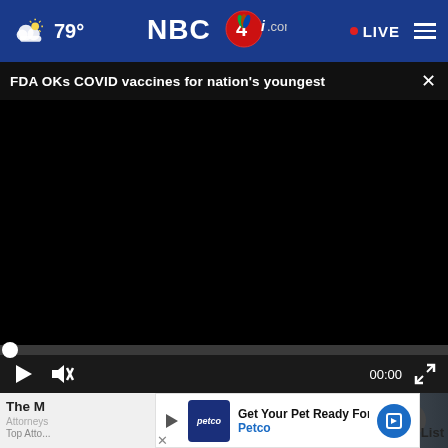[Figure (screenshot): NBC4i.com website navigation bar showing weather (79°), NBC4 logo, LIVE button, and hamburger menu on dark blue background]
FDA OKs COVID vaccines for nation's youngest
[Figure (screenshot): Black video player area with progress bar and controls showing play button, mute button, 00:00 timestamp, and fullscreen button]
[Figure (photo): Partial photo of people visible below the video player]
The M... e List
Top Atto...
[Figure (screenshot): Petco advertisement banner: Get Your Pet Ready For Summe - Petco]